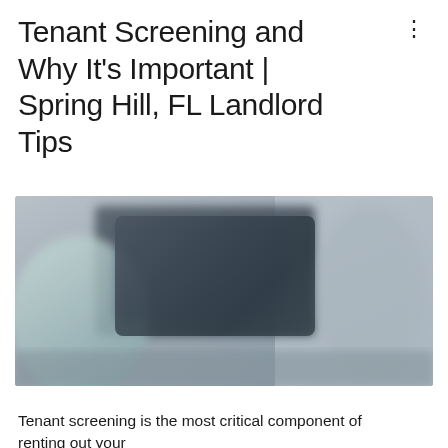Tenant Screening and Why It's Important | Spring Hill, FL Landlord Tips
[Figure (photo): Blurred photo of a person sitting at a desk with a computer monitor and documents, likely depicting a landlord or property manager reviewing tenant applications.]
Tenant screening is the most critical component of renting out your